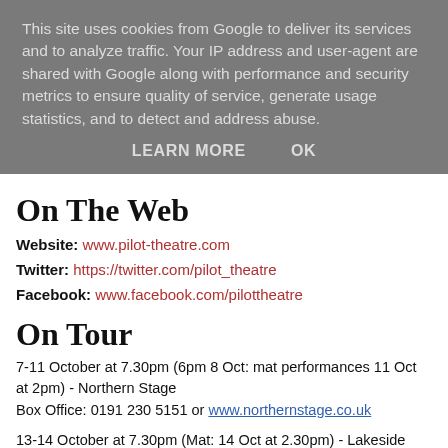This site uses cookies from Google to deliver its services and to analyze traffic. Your IP address and user-agent are shared with Google along with performance and security metrics to ensure quality of service, generate usage statistics, and to detect and address abuse.
LEARN MORE   OK
On The Web
Website: www.pilot-theatre.com
Twitter: https://twitter.com/pilot_theatre
Facebook: www.facebook.com/pilottheatre
On Tour
7-11 October at 7.30pm (6pm 8 Oct: mat performances 11 Oct at 2pm) - Northern Stage
Box Office: 0191 230 5151 or www.northernstage.co.uk
13-14 October at 7.30pm (Mat: 14 Oct at 2.30pm) - Lakeside Arts Centre
Box Office: 0115 846777 / www.lakesidearts.org.uk